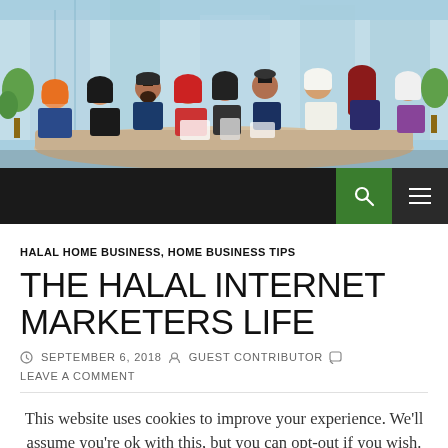[Figure (illustration): Illustrated banner showing a diverse group of Muslim professionals (men and women in traditional attire) sitting around a meeting table in a modern office with city skyline in background.]
HALAL HOME BUSINESS, HOME BUSINESS TIPS
THE HALAL INTERNET MARKETERS LIFE
SEPTEMBER 6, 2018  GUEST CONTRIBUTOR  LEAVE A COMMENT
This website uses cookies to improve your experience. We'll assume you're ok with this, but you can opt-out if you wish.